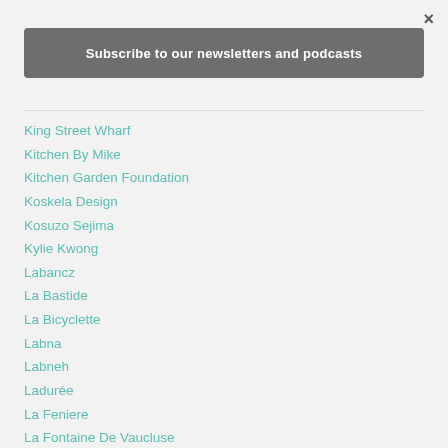×
Subscribe to our newsletters and podcasts
King Street Wharf
Kitchen By Mike
Kitchen Garden Foundation
Koskela Design
Kosuzo Sejima
Kylie Kwong
Labancz
La Bastide
La Bicyclette
Labna
Labneh
Ladurée
La Feniere
La Fontaine De Vaucluse
Laine Magi
La Marlotte